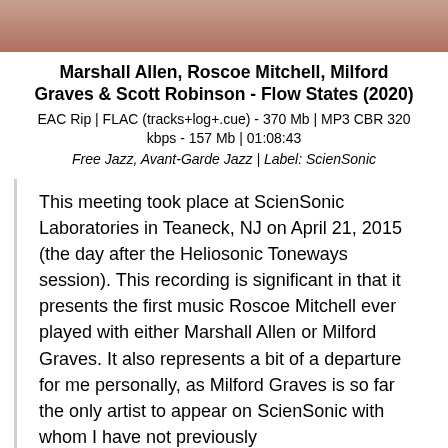[Figure (photo): Partial photo strip at top of page showing blurred/cropped image, warm pink/peach tones]
Marshall Allen, Roscoe Mitchell, Milford Graves & Scott Robinson - Flow States (2020)
EAC Rip | FLAC (tracks+log+.cue) - 370 Mb | MP3 CBR 320 kbps - 157 Mb | 01:08:43
Free Jazz, Avant-Garde Jazz | Label: ScienSonic
This meeting took place at ScienSonic Laboratories in Teaneck, NJ on April 21, 2015 (the day after the Heliosonic Toneways session). This recording is significant in that it presents the first music Roscoe Mitchell ever played with either Marshall Allen or Milford Graves. It also represents a bit of a departure for me personally, as Milford Graves is so far the only artist to appear on ScienSonic with whom I have not previously